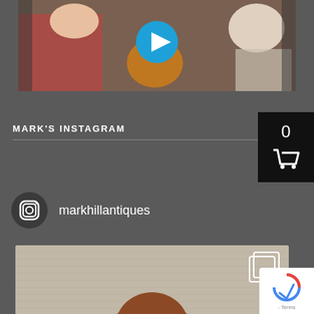[Figure (screenshot): Video thumbnail showing people with a cat, with a blue play button overlay]
MARK'S INSTAGRAM
[Figure (screenshot): Shopping cart widget with count 0 on black background]
[Figure (logo): Instagram icon (rounded square camera icon) next to username markhillantiques]
markhillantiques
[Figure (photo): Instagram photo showing a sculptural face/head (bronze or clay) on a fabric background, with a multi-photo icon in the top right corner]
Terms